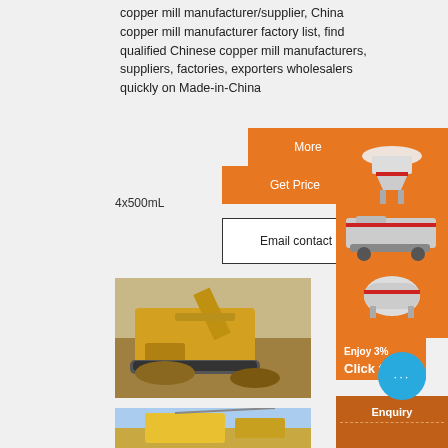copper mill manufacturer/supplier, China copper mill manufacturer factory list, find qualified Chinese copper mill manufacturers, suppliers, factories, exporters wholesalers quickly on Made-in-China
More
Get Price
4x500mL
Email contact
[Figure (photo): Large yellow mining/crushing machine operating outdoors]
[Figure (photo): Yellow crane/construction equipment outdoors]
[Figure (photo): Sidebar advertisement showing industrial crushing/milling machines on orange background]
Enjoy 3%
Click t...
Enquiry
limingjlmofen@sina.com